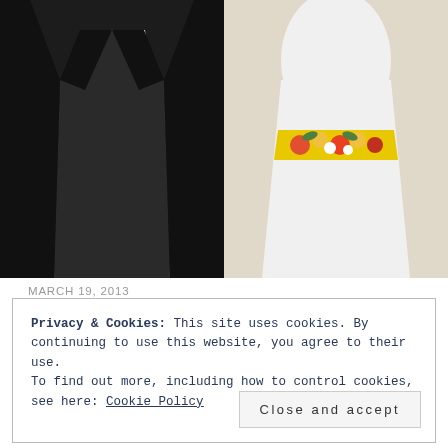[Figure (photo): Two wedding cake toppers side by side: left shows a groom in a black tuxedo with yellow tie, right shows a bride in a white dress with yellow floral sash]
MARCH 19, 2013
As I mentioned yesterday, my brother-in-law is getting married on Friday. I suppose that I'll forgive them for barging in on our anniversary month (wink wink). M&T live in Chicago where it is currently freezing, so they were so smart to have
Privacy & Cookies: This site uses cookies. By continuing to use this website, you agree to their use.
To find out more, including how to control cookies, see here: Cookie Policy
Close and accept